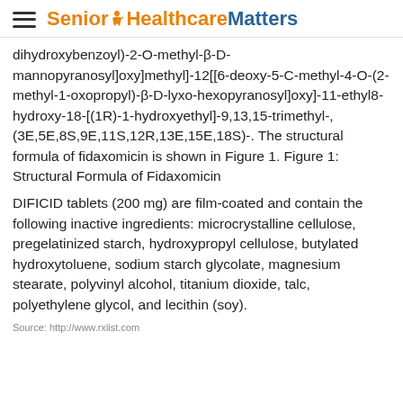Senior Healthcare Matters
dihydroxybenzoyl)-2-O-methyl-β-D-mannopyranosyl]oxy]methyl]-12[[6-deoxy-5-C-methyl-4-O-(2-methyl-1-oxopropyl)-β-D-lyxo-hexopyranosyl]oxy]-11-ethyl8-hydroxy-18-[(1R)-1-hydroxyethyl]-9,13,15-trimethyl-, (3E,5E,8S,9E,11S,12R,13E,15E,18S)-. The structural formula of fidaxomicin is shown in Figure 1. Figure 1: Structural Formula of Fidaxomicin DIFICID tablets (200 mg) are film-coated and contain the following inactive ingredients: microcrystalline cellulose, pregelatinized starch, hydroxypropyl cellulose, butylated hydroxytoluene, sodium starch glycolate, magnesium stearate, polyvinyl alcohol, titanium dioxide, talc, polyethylene glycol, and lecithin (soy).
Source: http://www.rxlist.com